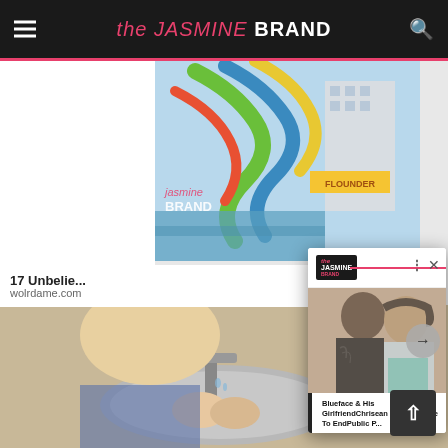the JASMINE BRAND
[Figure (screenshot): Waterpark with colorful water slides on a cruise ship or resort]
17 Unbelie...
wolrdame.com
[Figure (photo): Blueface and his girlfriend Chrisean Rock posing together]
Blueface & His GirlfriendChrisean RockPromise To EndPublic P...
[Figure (photo): Person washing hands at kitchen sink]